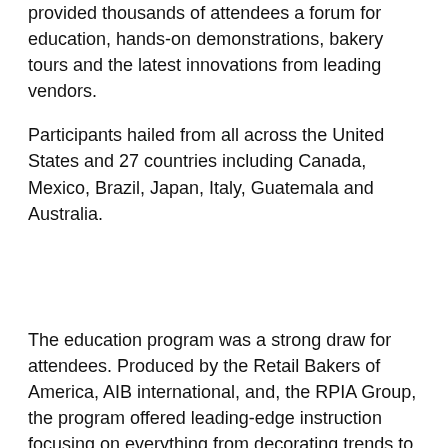provided thousands of attendees a forum for education, hands-on demonstrations, bakery tours and the latest innovations from leading vendors.
Participants hailed from all across the United States and 27 countries including Canada, Mexico, Brazil, Japan, Italy, Guatemala and Australia.
The education program was a strong draw for attendees. Produced by the Retail Bakers of America, AIB international, and, the RPIA Group, the program offered leading-edge instruction focusing on everything from decorating trends to business management and marketing.
Show organizers were very pleased with All Things Baking 2013. "Highlights for most representatives at this year's show...